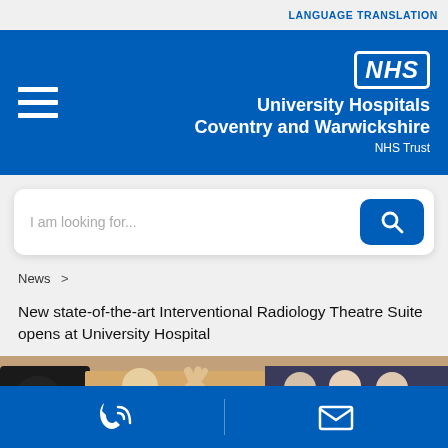LANGUAGE TRANSLATION
[Figure (logo): NHS University Hospitals Coventry and Warwickshire NHS Trust logo with hamburger menu icon on blue header background]
I am looking for...
News >
New state-of-the-art Interventional Radiology Theatre Suite opens at University Hospital
[Figure (photo): Group of NHS staff and visitors wearing face masks in a clinical setting, some waving]